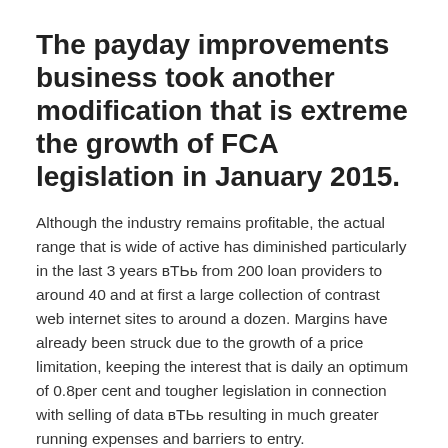The payday improvements business took another modification that is extreme the growth of FCA legislation in January 2015.
Although the industry remains profitable, the actual range that is wide of active has diminished particularly in the last 3 years вТЬь from 200 loan providers to around 40 and at first a large collection of contrast web internet sites to around a dozen. Margins have already been struck due to the growth of a price limitation, keeping the interest that is daily an optimum of 0.8per cent and tougher legislation in connection with selling of data вТЬь resulting in much greater running expenses and barriers to entry.